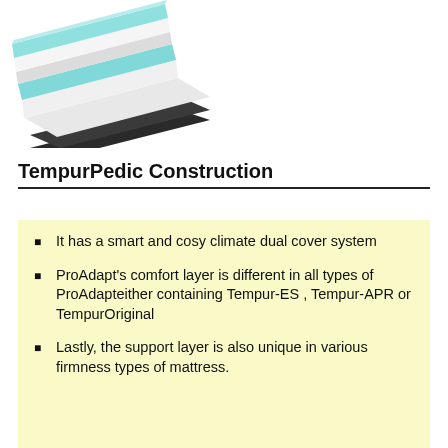[Figure (photo): Layered cross-section of a TempurPedic mattress showing multiple foam layers in white, light blue/teal, and dark colors stacked at an angle]
TempurPedic Construction
It has a smart and cosy climate dual cover system
ProAdapt's comfort layer is different in all types of ProAdapteither containing Tempur-ES , Tempur-APR or TempurOriginal
Lastly, the support layer is also unique in various firmness types of mattress.